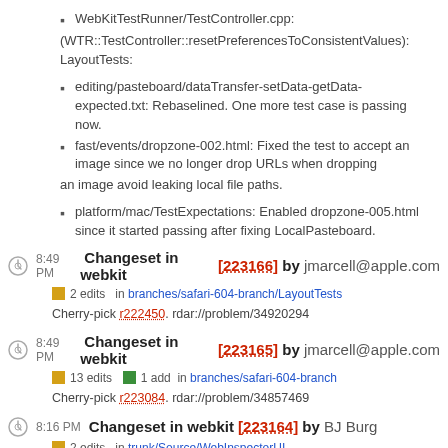WebKitTestRunner/TestController.cpp:
(WTR::TestController::resetPreferencesToConsistentValues): LayoutTests:
editing/pasteboard/dataTransfer-setData-getData-expected.txt: Rebaselined. One more test case is passing now.
fast/events/dropzone-002.html: Fixed the test to accept an image since we no longer drop URLs when dropping
an image avoid leaking local file paths.
platform/mac/TestExpectations: Enabled dropzone-005.html since it started passing after fixing LocalPasteboard.
8:49 PM Changeset in webkit [223166] by jmarcell@apple.com
2 edits   in branches/safari-604-branch/LayoutTests
Cherry-pick r222450. rdar://problem/34920294
8:49 PM Changeset in webkit [223165] by jmarcell@apple.com
13 edits   1 add   in branches/safari-604-branch
Cherry-pick r223084. rdar://problem/34857469
8:16 PM Changeset in webkit [223164] by BJ Burg
2 edits   in trunk/Source/WebInspectorUI